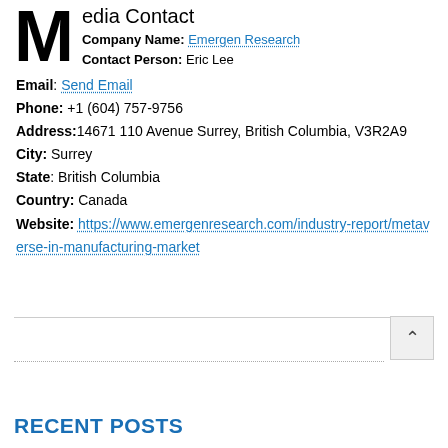Media Contact
Company Name: Emergen Research
Contact Person: Eric Lee
Email: Send Email
Phone: +1 (604) 757-9756
Address: 14671 110 Avenue Surrey, British Columbia, V3R2A9
City: Surrey
State: British Columbia
Country: Canada
Website: https://www.emergenresearch.com/industry-report/metaverse-in-manufacturing-market
RECENT POSTS